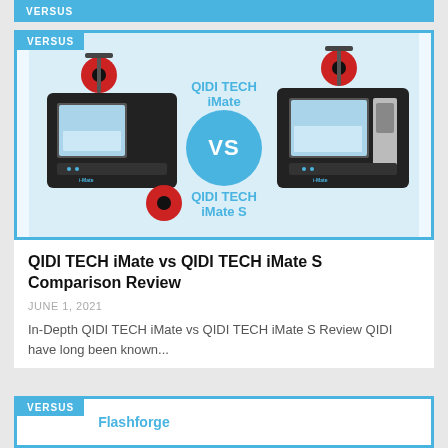VERSUS
[Figure (illustration): Product comparison image showing QIDI TECH iMate (left) vs QIDI TECH iMate S (right) 3D printers with a blue VS circle in the center. Text labels: QIDI TECH iMate and QIDI TECH iMate S.]
QIDI TECH iMate vs QIDI TECH iMate S Comparison Review
JUNE 1, 2021
In-Depth QIDI TECH iMate vs QIDI TECH iMate S Review QIDI have long been known...
[Figure (illustration): Partially visible bottom card with VERSUS label and Flashforge text visible]